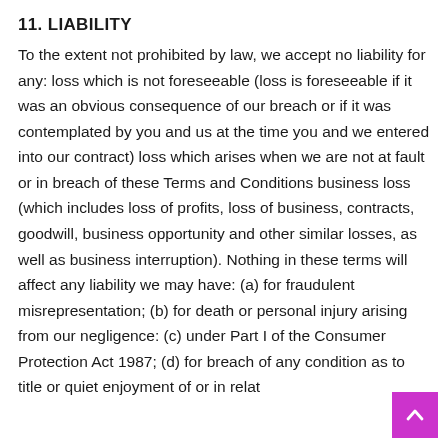11. LIABILITY
To the extent not prohibited by law, we accept no liability for any: loss which is not foreseeable (loss is foreseeable if it was an obvious consequence of our breach or if it was contemplated by you and us at the time you and we entered into our contract) loss which arises when we are not at fault or in breach of these Terms and Conditions business loss (which includes loss of profits, loss of business, contracts, goodwill, business opportunity and other similar losses, as well as business interruption). Nothing in these terms will affect any liability we may have: (a) for fraudulent misrepresentation; (b) for death or personal injury arising from our negligence: (c) under Part I of the Consumer Protection Act 1987; (d) for breach of any condition as to title or quiet enjoyment of or in relation to any goods supplied by us; or (e) in relation to any